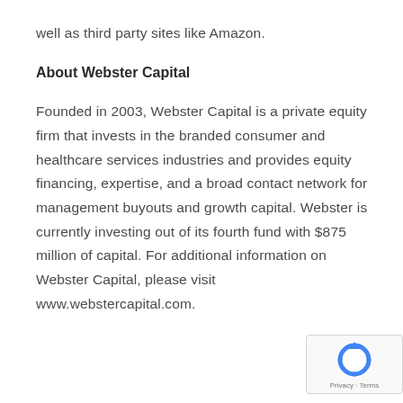well as third party sites like Amazon.
About Webster Capital
Founded in 2003, Webster Capital is a private equity firm that invests in the branded consumer and healthcare services industries and provides equity financing, expertise, and a broad contact network for management buyouts and growth capital. Webster is currently investing out of its fourth fund with $875 million of capital. For additional information on Webster Capital, please visit www.webstercapital.com.